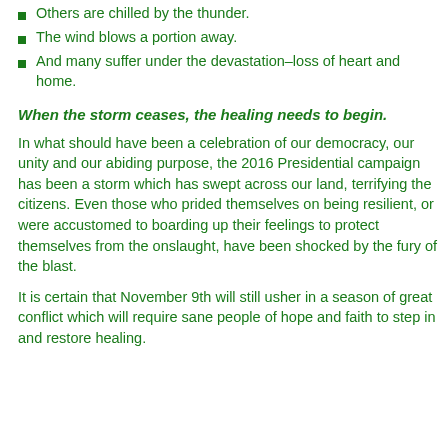Others are chilled by the thunder.
The wind blows a portion away.
And many suffer under the devastation–loss of heart and home.
When the storm ceases, the healing needs to begin.
In what should have been a celebration of our democracy, our unity and our abiding purpose, the 2016 Presidential campaign has been a storm which has swept across our land, terrifying the citizens. Even those who prided themselves on being resilient, or were accustomed to boarding up their feelings to protect themselves from the onslaught, have been shocked by the fury of the blast.
It is certain that November 9th will still usher in a season of great conflict which will require sane people of hope and faith to step in and restore healing.